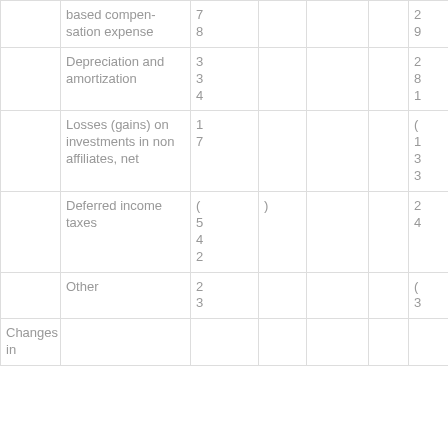|  |  |  |  |  |  |  |
| --- | --- | --- | --- | --- | --- | --- |
|  | based compensation expense | 7
8 |  |  |  | 2
9 |
|  | Depreciation and amortization | 3
3
4 |  |  |  | 2
8
1 |
|  | Losses (gains) on investments in non affiliates, net | 1
7 |  |  |  | (
1
3
3 |
|  | Deferred income taxes | (
5
4
2 | ) |  |  | 2
4 |
|  | Other | 2
3 |  |  |  | (
3 |
| Changes in |  |  |  |  |  |  |